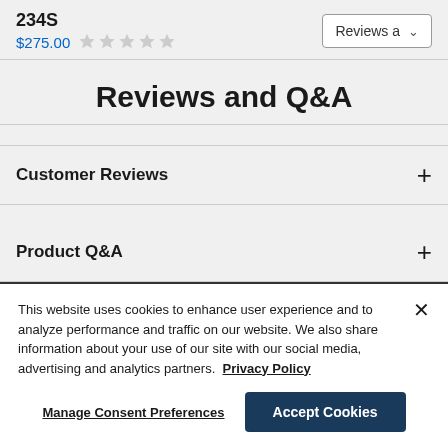234S $275.00 Reviews a
Reviews and Q&A
Customer Reviews
Product Q&A
This website uses cookies to enhance user experience and to analyze performance and traffic on our website. We also share information about your use of our site with our social media, advertising and analytics partners. Privacy Policy
Manage Consent Preferences   Accept Cookies